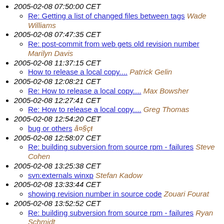2005-02-08 07:50:00 CET
Re: Getting a list of changed files between tags Wade Williams
2005-02-08 07:47:35 CET
Re: post-commit from web gets old revision number Marilyn Davis
2005-02-08 11:37:15 CET
How to release a local copy.... Patrick Gelin
2005-02-08 12:08:21 CET
Re: How to release a local copy.... Max Bowsher
2005-02-08 12:27:41 CET
Re: How to release a local copy.... Greg Thomas
2005-02-08 12:54:20 CET
bug or others å¤§çŧ
2005-02-08 12:58:07 CET
Re: building subversion from source rpm - failures Steve Cohen
2005-02-08 13:25:38 CET
svn:externals winxp Stefan Kadow
2005-02-08 13:33:44 CET
showing revision number in source code Zouari Fourat
2005-02-08 13:52:52 CET
Re: building subversion from source rpm - failures Ryan Schmidt
2005-02-08 13:59:00 CET